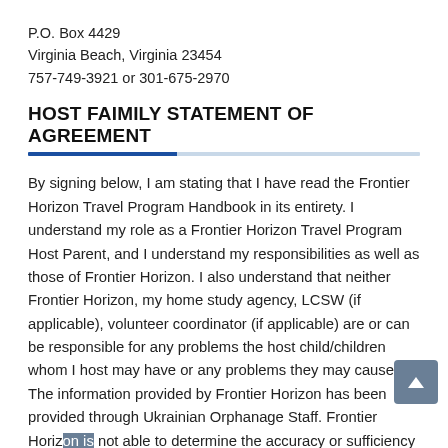P.O. Box 4429
Virginia Beach, Virginia 23454
757-749-3921 or 301-675-2970
HOST FAIMILY STATEMENT OF AGREEMENT
By signing below, I am stating that I have read the Frontier Horizon Travel Program Handbook in its entirety. I understand my role as a Frontier Horizon Travel Program Host Parent, and I understand my responsibilities as well as those of Frontier Horizon. I also understand that neither Frontier Horizon, my home study agency, LCSW (if applicable), volunteer coordinator (if applicable) are or can be responsible for any problems the host child/children whom I host may have or any problems they may cause. The information provided by Frontier Horizon has been provided through Ukrainian Orphanage Staff. Frontier Horizon is not able to determine the accuracy or sufficiency of information...